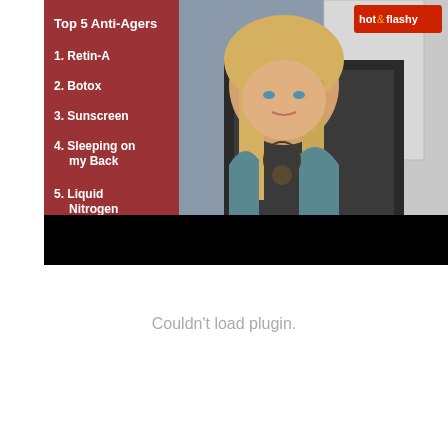[Figure (screenshot): Video screenshot showing a blonde woman sitting in a chair, with a red overlay panel on the left listing 'Top 5 Anti-Agers': 1. Retin-A, 2. Botox, 3. Sunscreen, 4. Sleeping on my Back, 5. Liquid Nitrogen. A 'hot&flashy' logo appears in the top right corner. The bottom portion of the video frame is black.]
Couldn't load plugin.